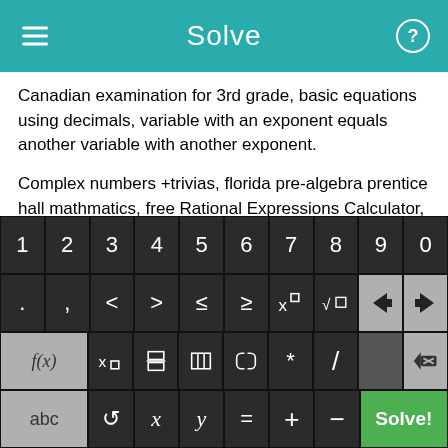Solve
Canadian examination for 3rd grade, basic equations using decimals, variable with an exponent equals another variable with another exponent.
Complex numbers +trivias, florida pre-algebra prentice hall mathmatics, free Rational Expressions Calculator, pre algebra practice papers, ti 89 calculator worksheets, free algebra online solver, clep college algebra + tutorials.
Prentice hall mathematics integrated algebra 1 chapter 5 lesson...
[Figure (screenshot): On-screen math keyboard with four rows: digit keys 1-0, symbol keys (. , < > ≤ ≥ x^□ √□ ← →), function keys (f(x) x□ fraction absolute-value bracket * / backspace), and bottom row (abc ↺ x y = + − Solve!)]